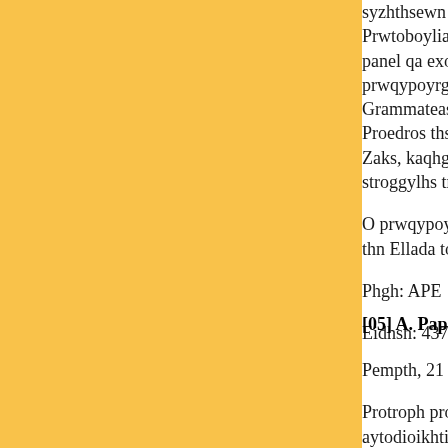syzhthsewn oi opoles qa katalhjoyn sthn ypo... Prwtoboylias gia thn Klimatikh Allagh sth M... panel qa exoyn o prwqypoyrgos ths Maltas, D... prwqypoyrgos ths Palaistiniakhs Arxhs Salan... Grammateas ths Enwshs gia th Mesogeio Ax... Proedros ths Eyrwpaikhs Trapezas Ependyse... Zaks, kaqhghths toy Panepisthmioy Koloymp... stroggylhs trapezas.
O prwqypoyrgos ths Toyrkias Retzep Tagip E... thn Ellada to apogeyma ths Paraskeyhs.
Phgh: APE
Eidhsh: 43713
[05] A. Paparhga: ``Ta metra erxontai kai
Pempth, 21 10 2010 21:27
Protroph pros toys chfoforoys na katachfisoy... aytodioikhtikes ekloges toy Noembrioy, wste... kybernhsh, apeyqyne h genikh grammateas to... milwntas se sygkentrwsh sthn plateia Korah t... aixmes gia tis pragmatikes proqeseis twn ypo...